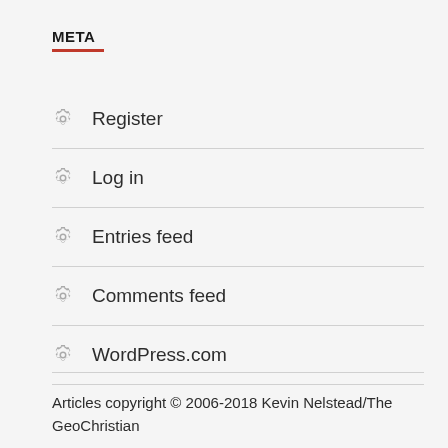META
Register
Log in
Entries feed
Comments feed
WordPress.com
Articles copyright © 2006-2018 Kevin Nelstead/The GeoChristian